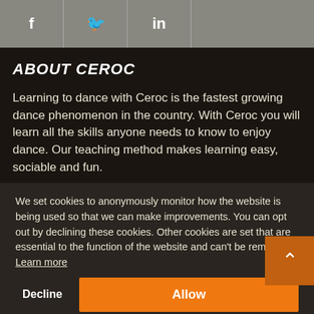f  Twitter  in
ABOUT CEROC
Learning to dance with Ceroc is the fastest growing dance phenomenon in the country. With Ceroc you will learn all the skills anyone needs to know to enjoy dance. Our teaching method makes learning easy, sociable and fun.
Our varied classes are catered towards a range of different abilities, from those who have never been to dance before, to the more advanced. You don't need a partner or any prior dance experience. You'll be able to dance with someone new every...
We set cookies to anonymously monitor how the website is being used so that we can make improvements. You can opt out by declining these cookies. Other cookies are set that are essential to the function of the website and can't be removed.  Learn more
Decline  Allow